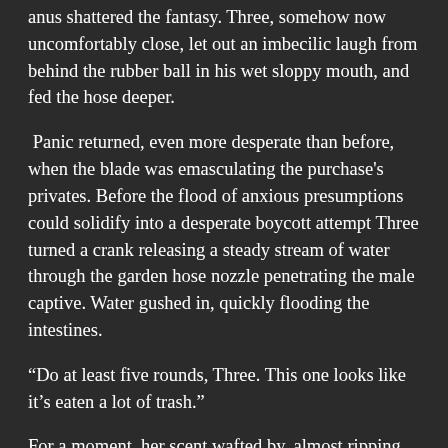anus shattered the fantasy. Three, somehow now uncomfortably close, let out an imbecilic laugh from behind the rubber ball in his wet sloppy mouth, and fed the hose deeper.
Panic returned, even more desperate than before, when the blade was emasculating the purchase's privates. Before the flood of anxious presumptions could solidify into a desperate boycott attempt Three turned a crank releasing a steady stream of water through the garden hose nozzle penetrating the male captive. Water gushed in, quickly flooding the intestines.
“Do at least five rounds, Three. This one looks like it’s eaten a lot of trash.”
For a moment, her scent wafted by, almost ripping the troll away from its misery, but the pleasure soon precluded with a shrieking glimpse of the owner’s tand